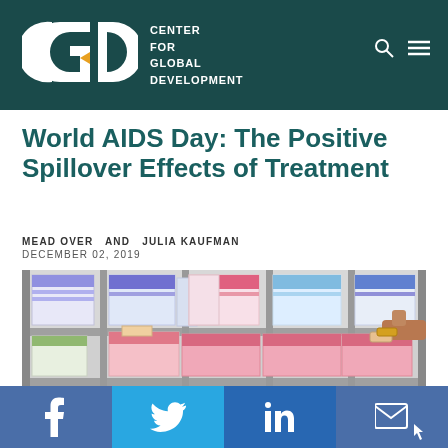[Figure (logo): CGD Center for Global Development logo on dark teal header with search and menu icons]
World AIDS Day: The Positive Spillover Effects of Treatment
MEAD OVER  AND  JULIA KAUFMAN
DECEMBER 02, 2019
[Figure (photo): Pharmacy shelves stocked with boxes of medications in pink, blue, and white packaging; a person's hand reaches for a box on the right side]
Facebook  Twitter  LinkedIn  Email